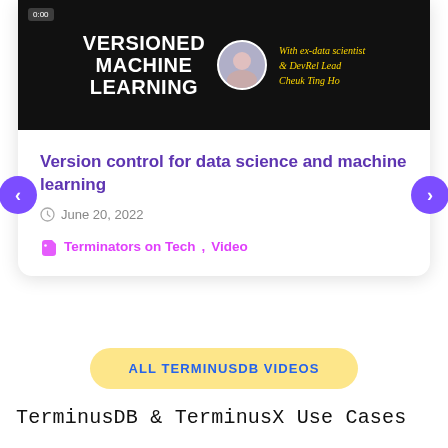[Figure (screenshot): Video thumbnail with dark background showing 'VERSIONED MACHINE LEARNING' text, presenter avatar, and host name 'With ex-data scientist & DevRel Lead Cheuk Ting Ho' in gold italic text]
Version control for data science and machine learning
June 20, 2022
Terminators on Tech, Video
ALL TERMINUSDB VIDEOS
TerminusDB & TerminusX Use Cases